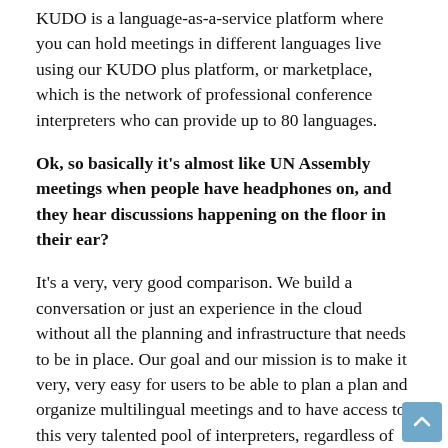KUDO is a language-as-a-service platform where you can hold meetings in different languages live using our KUDO plus platform, or marketplace, which is the network of professional conference interpreters who can provide up to 80 languages.
Ok, so basically it's almost like UN Assembly meetings when people have headphones on, and they hear discussions happening on the floor in their ear?
It's a very, very good comparison. We build a conversation or just an experience in the cloud without all the planning and infrastructure that needs to be in place. Our goal and our mission is to make it very, very easy for users to be able to plan a plan and organize multilingual meetings and to have access to this very talented pool of interpreters, regardless of where they are. find and their linguistic needs. We have created a product called Interpreter Marketplace, where we have 12,000 interpreters on our platform and hosts and meeting planners can find interpreters and bring them to Kudo meetings with just a few mouse clicks, and provide the topic of the date and time of